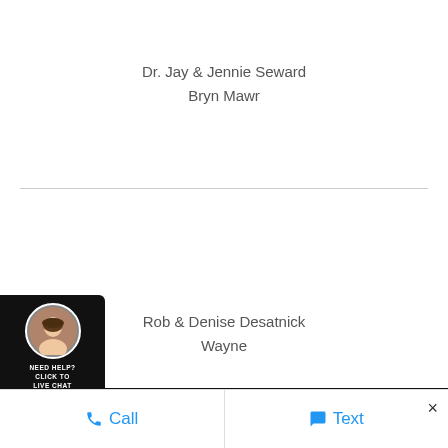Dr. Jay & Jennie Seward
Bryn Mawr
Rob & Denise Desatnick
Wayne
[Figure (other): Live chat widget with female agent avatar photo, black background, text: NEED HELP? CLICK TO LIVE CHAT]
Call  |  Text  ×